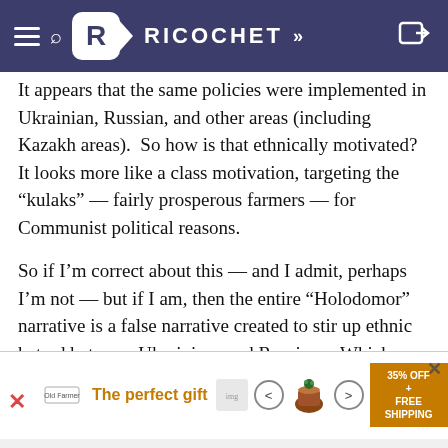RICOCHET
It appears that the same policies were implemented in Ukrainian, Russian, and other areas (including Kazakh areas).  So how is that ethnically motivated?  It looks more like a class motivation, targeting the “kulaks” — fairly prosperous farmers — for Communist political reasons.
So if I’m correct about this — and I admit, perhaps I’m not — but if I am, then the entire “Holodomor” narrative is a false narrative created to stir up ethnic hatred between Ukrainians and Russians.  Which does seem to be how it is used.
History is complicated, I think.
[Figure (screenshot): Advertisement banner at bottom: The perfect gift, with product images and 35% OFF FREE SHIPPING offer]